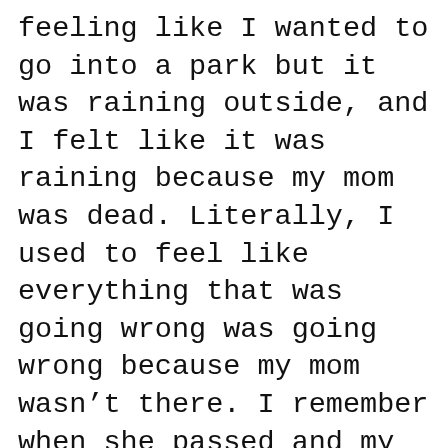feeling like I wanted to go into a park but it was raining outside, and I felt like it was raining because my mom was dead. Literally, I used to feel like everything that was going wrong was going wrong because my mom wasn't there. I remember when she passed and my grandparents told me that she was going away, that she was going to be in a better place—I didn't understand that. Went to her funeral and everything and still didn't understand what was going on. Just knew that everything that was good went away. And then all of the people that I ran into who appeared to have a